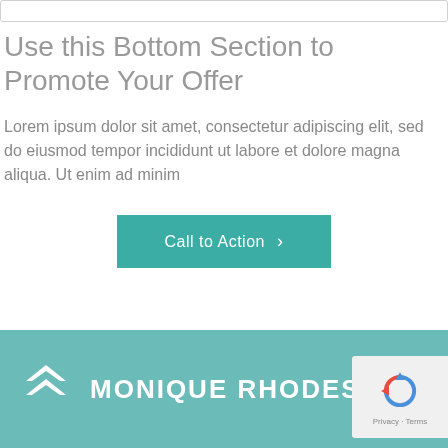Use this Bottom Section to Promote Your Offer
Lorem ipsum dolor sit amet, consectetur adipiscing elit, sed do eiusmod tempor incididunt ut labore et dolore magna aliqua. Ut enim ad minim
Call to Action >
MONIQUE RHODES